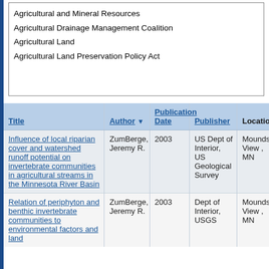Agricultural and Mineral Resources
Agricultural Drainage Management Coalition
Agricultural Land
Agricultural Land Preservation Policy Act
| Title | Author | Publication Date | Publisher | Location |
| --- | --- | --- | --- | --- |
| Influence of local riparian cover and watershed runoff potential on invertebrate communities in agricultural streams in the Minnesota River Basin | ZumBerge, Jeremy R. | 2003 | US Dept of Interior, US Geological Survey | Mounds View , MN |
| Relation of periphyton and benthic invertebrate communities to environmental factors and land | ZumBerge, Jeremy R. | 2003 | Dept of Interior, USGS | Mounds View , MN |